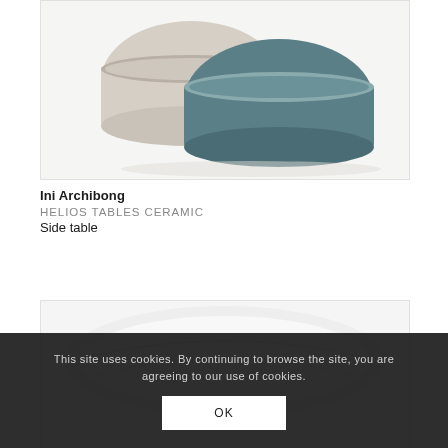[Figure (photo): Product photo showing two ceramic bowl-shaped side tables stacked — one beige/cream and one teal/dark blue-grey, with metallic rim details, on white background]
Ini Archibong
HELIOS TABLES CERAMIC
Side table
[Figure (photo): Partial product photo showing a white ceramic plate or bowl, soft grey curves on white background]
This site uses cookies. By continuing to browse the site, you are agreeing to our use of cookies.
OK